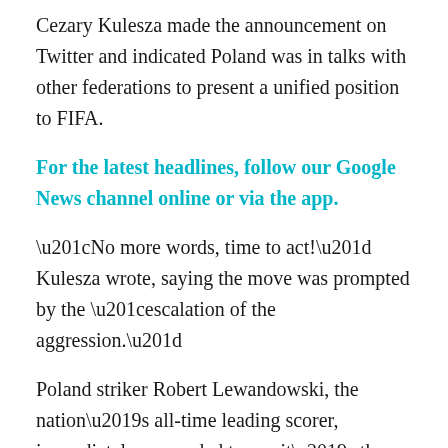Cezary Kulesza made the announcement on Twitter and indicated Poland was in talks with other federations to present a unified position to FIFA.
For the latest headlines, follow our Google News channel online or via the app.
“No more words, time to act!” Kulesza wrote, saying the move was prompted by the “escalation of the aggression.”
Poland striker Robert Lewandowski, the nation’s all-time leading scorer, immediately responded to say it’s the “right decision!”